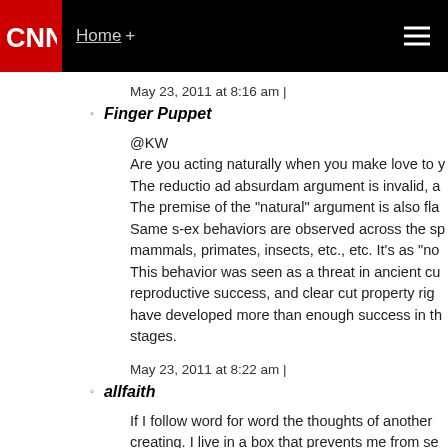CNN | Home +
May 23, 2011 at 8:16 am |
Finger Puppet
@KW
Are you acting naturally when you make love to y
The reductio ad absurdam argument is invalid, a
The premise of the "natural" argument is also fla
Same s-ex behaviors are observed across the sp
mammals, primates, insects, etc., etc. It's as "no
This behavior was seen as a threat in ancient cu
reproductive success, and clear cut property rig
have developed more than enough success in th
stages.
May 23, 2011 at 8:22 am |
allfaith
If I follow word for word the thoughts of another
creating. I live in a box that prevents me from se